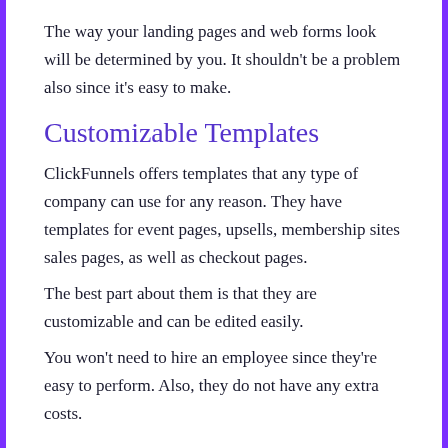The way your landing pages and web forms look will be determined by you. It shouldn't be a problem also since it's easy to make.
Customizable Templates
ClickFunnels offers templates that any type of company can use for any reason. They have templates for event pages, upsells, membership sites sales pages, as well as checkout pages.
The best part about them is that they are customizable and can be edited easily.
You won't need to hire an employee since they're easy to perform. Also, they do not have any extra costs.
Marketing Automation
After you've built your email list, ClickFunnels takes it a step further. It allows you to interact to your subscribers through sending them